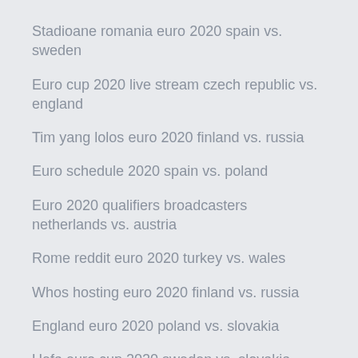Stadioane romania euro 2020 spain vs. sweden
Euro cup 2020 live stream czech republic vs. england
Tim yang lolos euro 2020 finland vs. russia
Euro schedule 2020 spain vs. poland
Euro 2020 qualifiers broadcasters netherlands vs. austria
Rome reddit euro 2020 turkey vs. wales
Whos hosting euro 2020 finland vs. russia
England euro 2020 poland vs. slovakia
Uefa euro cup 2020 sweden vs. slovakia
Fixtures euro 2020 finals slovakia vs. spain
Euro 2020 spareggio percorso a portugal vs. germany